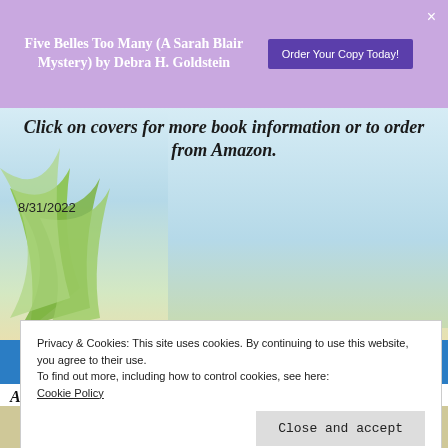Five Belles Too Many (A Sarah Blair Mystery) by Debra H. Goldstein
Order Your Copy Today!
Click on covers for more book information or to order from Amazon.
8/31/2022
ANNE LOUISE BANNON
A great choice for fans of historical mystery.
Privacy & Cookies: This site uses cookies. By continuing to use this website, you agree to their use.
To find out more, including how to control cookies, see here:
Cookie Policy
Close and accept
[Figure (photo): Book thumbnails strip at bottom of page showing book covers in a row on a sandy beach background]